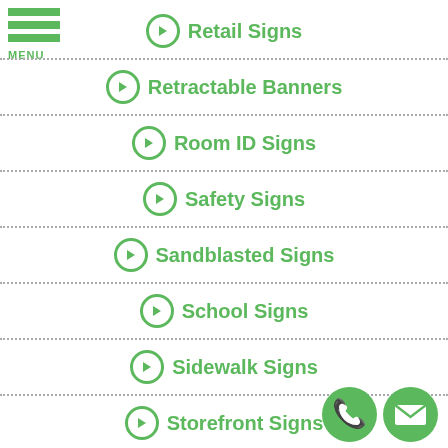[Figure (logo): Green hamburger menu icon with three horizontal bars and MENU label]
Retail Signs
Retractable Banners
Room ID Signs
Safety Signs
Sandblasted Signs
School Signs
Sidewalk Signs
Storefront Signs
Table Top Displays
[Figure (illustration): Green circle phone icon and green circle email/envelope icon at bottom right]